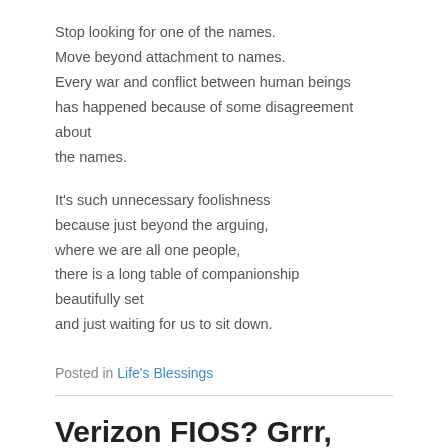Stop looking for one of the names.
Move beyond attachment to names.
Every war and conflict between human beings
has happened because of some disagreement about
the names.

It's such unnecessary foolishness
because just beyond the arguing,
where we are all one people,
there is a long table of companionship
beautifully set
and just waiting for us to sit down.
Posted in Life's Blessings
Verizon FIOS? Grrr, ARGH!
Posted on June 23, 2010 by Heather